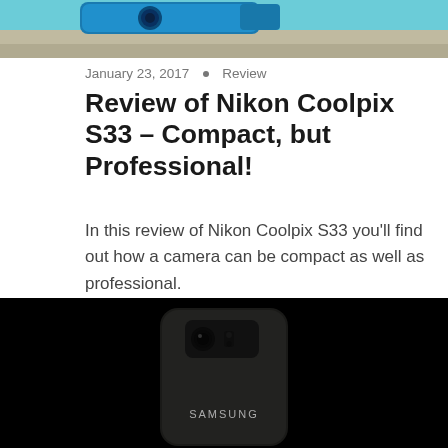[Figure (photo): Top portion of a photo showing a blue Nikon Coolpix S33 camera on a sandy/gravelly surface]
January 23, 2017  •  Review
Review of Nikon Coolpix S33 – Compact, but Professional!
In this review of Nikon Coolpix S33 you'll find out how a camera can be compact as well as professional.
Continue reading »
[Figure (photo): Samsung smartphone photographed from the back against a black background, showing the camera module and Samsung logo]